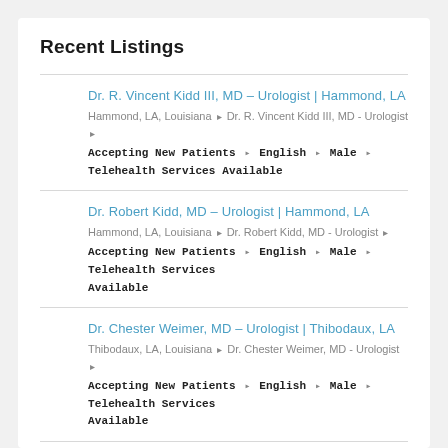Recent Listings
Dr. R. Vincent Kidd III, MD – Urologist | Hammond, LA
Hammond, LA, Louisiana • Dr. R. Vincent Kidd III, MD - Urologist • Accepting New Patients • English • Male • Telehealth Services Available
Dr. Robert Kidd, MD – Urologist | Hammond, LA
Hammond, LA, Louisiana • Dr. Robert Kidd, MD - Urologist • Accepting New Patients • English • Male • Telehealth Services Available
Dr. Chester Weimer, MD – Urologist | Thibodaux, LA
Thibodaux, LA, Louisiana • Dr. Chester Weimer, MD - Urologist • Accepting New Patients • English • Male • Telehealth Services Available
Dr. Glenn Kershen, MD – Urologist | Bay City, MI
Bay City, MI, Michigan • Dr. Glenn Kershen, MD - Urologist •